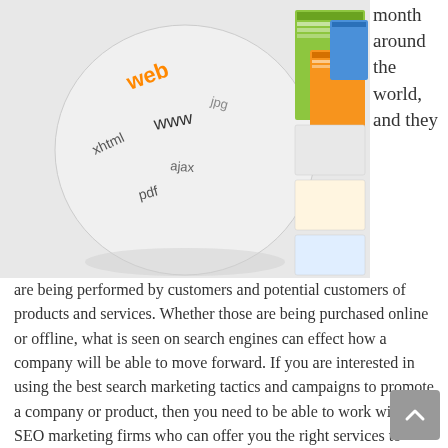[Figure (photo): A globe/sphere with web-related text (www, xhtml, ajax, pdf, web, jpg) overlaid, next to colorful website screenshots/interface panels in green, orange and blue tones.]
month around the world, and they are being performed by customers and potential customers of products and services. Whether those are being purchased online or offline, what is seen on search engines can effect how a company will be able to move forward. If you are interested in using the best search marketing tactics and campaigns to promote a company or product, then you need to be able to work with SEO marketing firms who can offer you the right services to make that possible. With internet marketing and great Seo tools it may be possible to increase your search engine rankings substantially.
Google, in its earliest stages, was housed in compartments made out of LEGO bricks while its